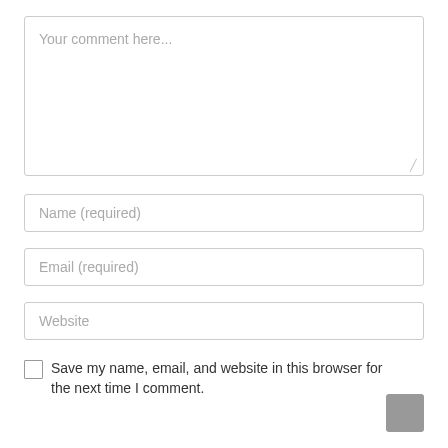Your comment here...
Name (required)
Email (required)
Website
Save my name, email, and website in this browser for the next time I comment.